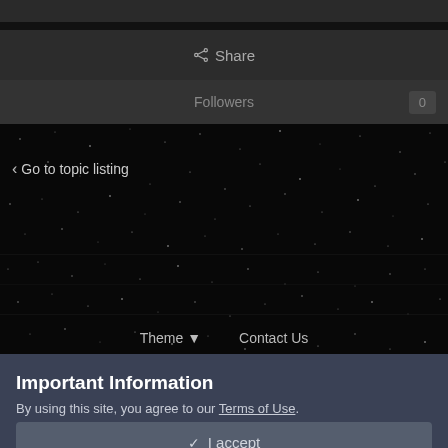[Figure (screenshot): Top dark bar of a web application UI, partially clipped at top]
Share
Followers  0
[Figure (photo): Starfield background — dark space with scattered white dots/stars, noisy texture]
< Go to topic listing
Theme ▼   Contact Us
Important Information
By using this site, you agree to our Terms of Use.
✔ I accept